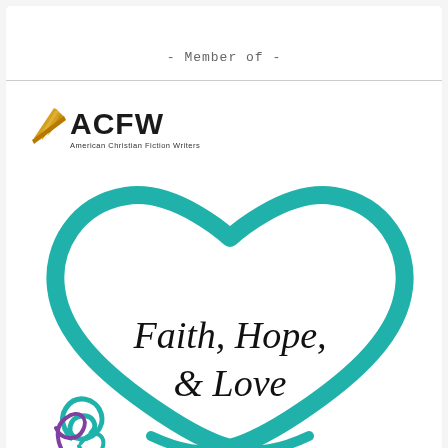- Member of -
[Figure (logo): ACFW American Christian Fiction Writers logo with golden book pages and black text]
[Figure (illustration): Teal heart outline illustration with italic text 'Faith, Hope, & Love' inside, with teal and purple decorative swirls at bottom left]